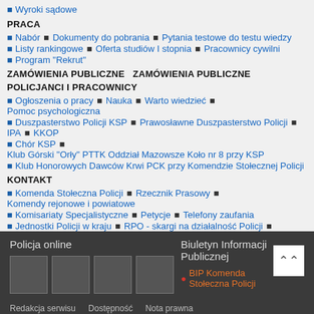Wyroki sądowe
PRACA
Nabór ▪ Dokumenty do pobrania ▪ Pytania testowe do testu wiedzy
Listy rankingowe ▪ Oferta studiów I stopnia ▪ Pracownicy cywilni
Program "Rekrut"
ZAMÓWIENIA PUBLICZNE  ZAMÓWIENIA PUBLICZNE
POLICJANCI I PRACOWNICY
Ogłoszenia o pracy ▪ Nauka ▪ Warto wiedzieć ▪ Pomoc psychologiczna
Duszpasterstwo Policji KSP ▪ Prawosławne Duszpasterstwo Policji ▪ IPA ▪ KKOP
Chór KSP ▪ Klub Górski "Orły" PTTK Oddział Mazowsze Koło nr 8 przy KSP
Klub Honorowych Dawców Krwi PCK przy Komendzie Stołecznej Policji
KONTAKT
Komenda Stołeczna Policji ▪ Rzecznik Prasowy ▪ Komendy rejonowe i powiatowe
Komisariaty Specjalistyczne ▪ Petycje ▪ Telefony zaufania
Jednostki Policji w kraju ▪ RPO - skargi na działalność Policji ▪ TOURIST GUIDE
RODO  DEKLARACJA DOSTĘPNOŚCI
Policja online
BIP Komenda Stołeczna Policji
Biuletyn Informacji Publicznej
Redakcja serwisu   Dostępność
Nota prawna